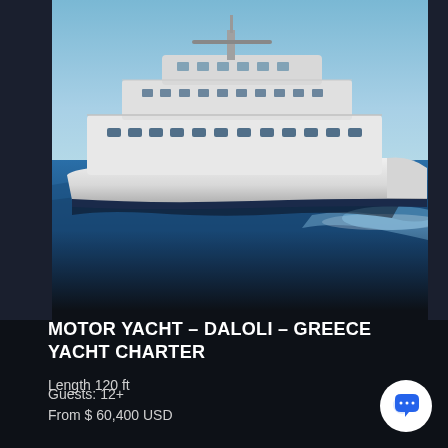[Figure (photo): A large white motor yacht at speed on blue ocean water, viewed from the side at a slight angle. The yacht has multiple decks and is creating a bow wave.]
MOTOR YACHT – DALOLI – GREECE YACHT CHARTER
Guests: 12+
Length 120 ft
From $ 60,400 USD